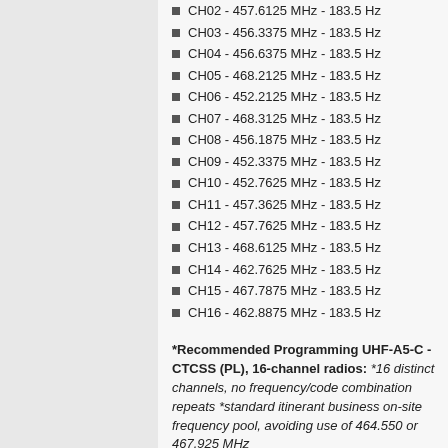CH02 - 457.6125 MHz - 183.5 Hz
CH03 - 456.3375 MHz - 183.5 Hz
CH04 - 456.6375 MHz - 183.5 Hz
CH05 - 468.2125 MHz - 183.5 Hz
CH06 - 452.2125 MHz - 183.5 Hz
CH07 - 468.3125 MHz - 183.5 Hz
CH08 - 456.1875 MHz - 183.5 Hz
CH09 - 452.3375 MHz - 183.5 Hz
CH10 - 452.7625 MHz - 183.5 Hz
CH11 - 457.3625 MHz - 183.5 Hz
CH12 - 457.7625 MHz - 183.5 Hz
CH13 - 468.6125 MHz - 183.5 Hz
CH14 - 462.7625 MHz - 183.5 Hz
CH15 - 467.7875 MHz - 183.5 Hz
CH16 - 462.8875 MHz - 183.5 Hz
*Recommended Programming UHF-A5-C - CTCSS (PL), 16-channel radios: *16 distinct channels, no frequency/code combination repeats *standard itinerant business on-site frequency pool, avoiding use of 464.550 or 467.925 MHz